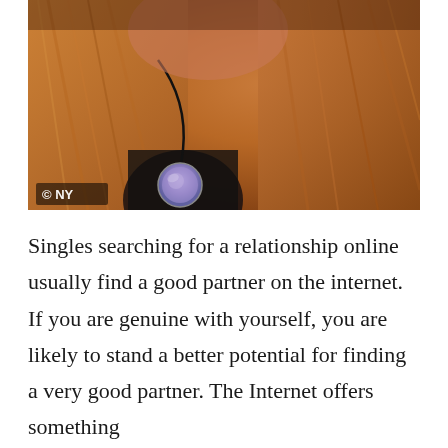[Figure (photo): Close-up photo of a person with blonde/auburn hair wearing a round pendant necklace on a dark cord. A copyright watermark '© NY' is visible in the lower left of the image.]
Singles searching for a relationship online usually find a good partner on the internet. If you are genuine with yourself, you are likely to stand a better potential for finding a very good partner. The Internet offers something